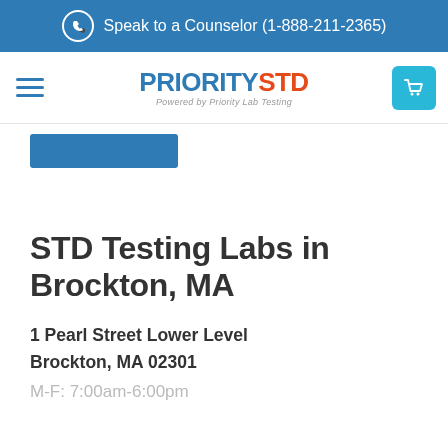Speak to a Counselor (1-888-211-2365)
[Figure (logo): PRIORITYSTD logo — PRIORITY in blue, STD in orange-red, 'Powered by Priority Lab Testing' subtitle]
STD Testing Labs in Brockton, MA
1 Pearl Street Lower Level
Brockton, MA 02301
M-F: 7:00am-6:00pm